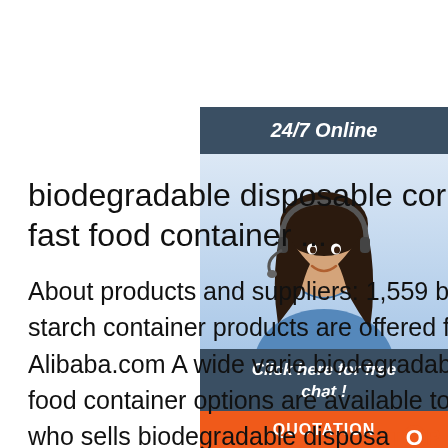[Figure (photo): Customer service representative with headset, smiling. Dark background sidebar widget with '24/7 Online' header, 'Click here for free chat!' text, and orange QUOTATION button.]
biodegradable disposable corn fast food container ...
About products and suppliers: 1,559 biodegradable disposable corn starch container products are offered for sale suppliers on Alibaba.com A wide variety biodegradable disposable corn starch fast food container options are available to you, There are 1 suppliers who sells biodegradable disposable corn starch fast food container on Alibaba.com, mainly located in Asia.